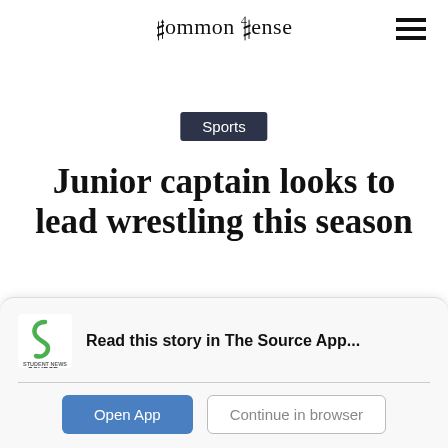Common Sense
Sports
Junior captain looks to lead wrestling this season
Conor Walsh, Jv Sports Editor
December 12, 2018
Read this story in The Source App...
Open App
Continue in browser